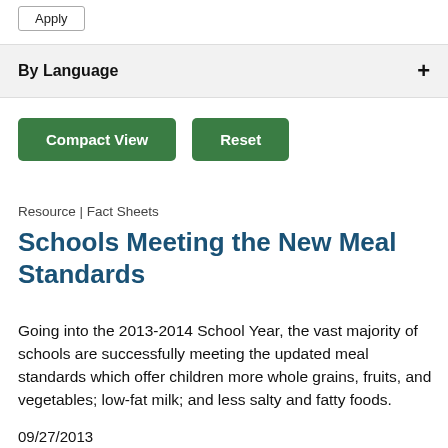Apply
By Language +
Compact View
Reset
Resource | Fact Sheets
Schools Meeting the New Meal Standards
Going into the 2013-2014 School Year, the vast majority of schools are successfully meeting the updated meal standards which offer children more whole grains, fruits, and vegetables; low-fat milk; and less salty and fatty foods.
09/27/2013